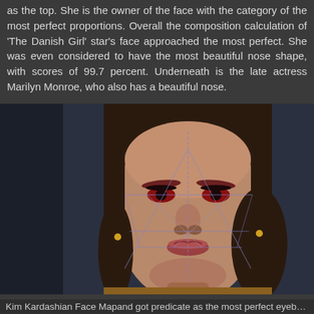as the top. She is the owner of the face with the category of the most perfect proportions. Overall the composition calculation of 'The Danish Girl' star's face approached the most perfect. She was even considered to have the most beautiful nose shape, with scores of 99.7 percent. Underneath is the late actress Marilyn Monroe, who also has a beautiful nose.
[Figure (photo): Portrait photo of Kim Kardashian with facial proportion lines (golden ratio / face mapping lines) overlaid in blue/purple, showing geometric analysis of her face features including eyes, nose, and mouth.]
Kim Kardashian Face Mapand got predicate as the most perfect eyebrow